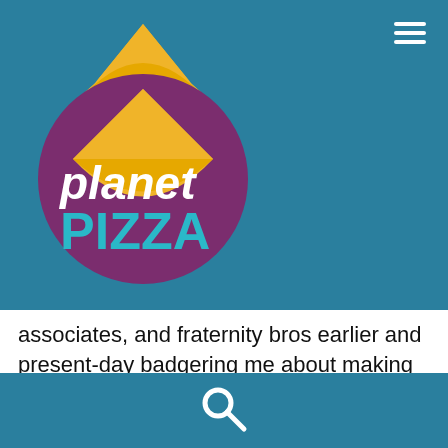[Figure (logo): Planet Pizza logo: circular purple background with golden pizza slice on top, white italic text 'planet' and teal bold text 'PIZZA']
associates, and fraternity bros earlier and present-day badgering me about making use of me and my essay freelance writers EssayScaning. Related Post: check this site out I didnt contemplate it turns into in this means. I presumed people right this bid for papers moment would be a modest way more critical about
[Figure (other): Search magnifying glass icon in white on teal background bar at bottom]